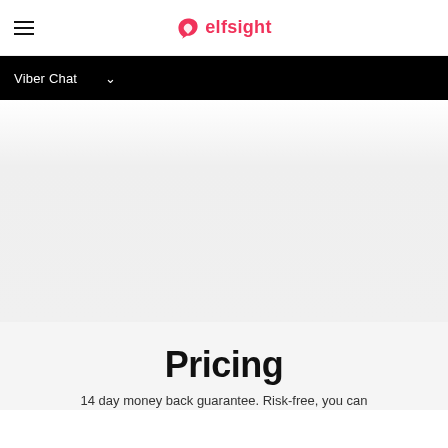elfsight
Viber Chat
Pricing
14 day money back guarantee. Risk-free, you can